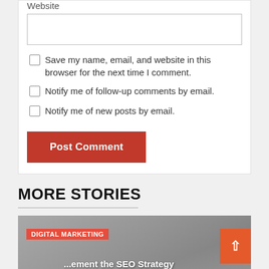Website
Save my name, email, and website in this browser for the next time I comment.
Notify me of follow-up comments by email.
Notify me of new posts by email.
Post Comment
MORE STORIES
[Figure (photo): Person wearing a sweater with SEO text and icons, used as background for a digital marketing story card.]
DIGITAL MARKETING
...ement the SEO Strategy For Your Business Growth?